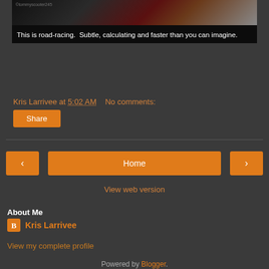[Figure (photo): Partial image of road racing scene with dark and colorful elements]
This is road-racing.  Subtle, calculating and faster than you can imagine.
Kris Larrivee at 5:02 AM   No comments:
Share
Home
View web version
About Me
Kris Larrivee
View my complete profile
Powered by Blogger.